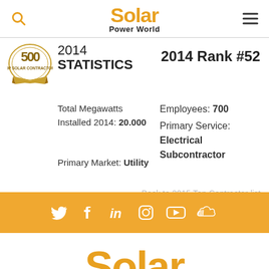Solar Power World
[Figure (logo): Solar 500 Top Solar Contractors badge/seal with golden ribbon]
2014 STATISTICS
2014 Rank #52
Total Megawatts Installed 2014: 20.000
Employees: 700
Primary Service: Electrical Subcontractor
Primary Market: Utility
Back to 2015 Top Contractor list
[Figure (infographic): Orange social media footer bar with Twitter, Facebook, LinkedIn, Instagram, YouTube, and SoundCloud icons in white]
[Figure (logo): Solar Power World logo (partial, bottom of page) in orange]